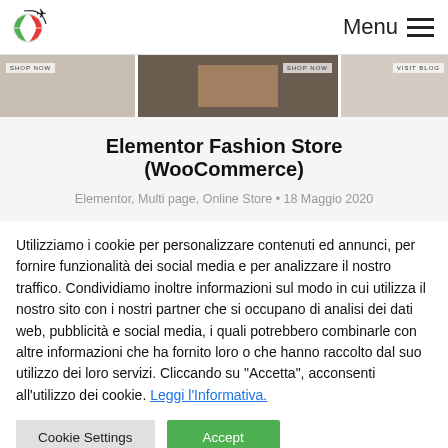Menu
[Figure (screenshot): Hero banner strip showing three fashion store images side by side with 'SHOP NOW' and 'VISIT BLOG' overlays]
Elementor Fashion Store (WooCommerce)
Elementor, Multi page, Online Store • 18 Maggio 2020
Utilizziamo i cookie per personalizzare contenuti ed annunci, per fornire funzionalità dei social media e per analizzare il nostro traffico. Condividiamo inoltre informazioni sul modo in cui utilizza il nostro sito con i nostri partner che si occupano di analisi dei dati web, pubblicità e social media, i quali potrebbero combinarle con altre informazioni che ha fornito loro o che hanno raccolto dal suo utilizzo dei loro servizi. Cliccando su "Accetta", acconsenti all'utilizzo dei cookie. Leggi l'Informativa.
Cookie Settings
Accept